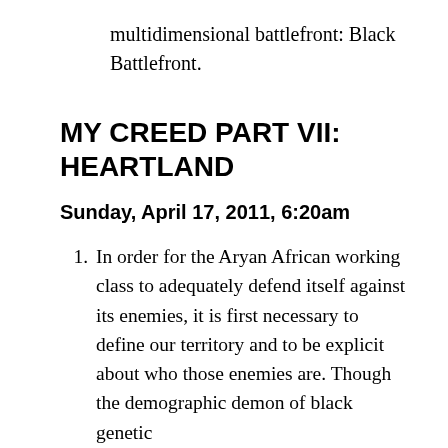multidimensional battlefront: Black Battlefront.
MY CREED PART VII: HEARTLAND
Sunday, April 17, 2011, 6:20am
1. In order for the Aryan African working class to adequately defend itself against its enemies, it is first necessary to define our territory and to be explicit about who those enemies are. Though the demographic demon of black genetic